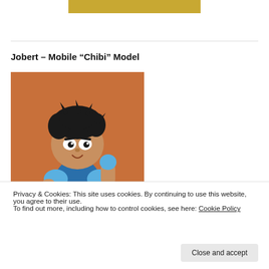[Figure (other): Gold/yellow banner bar at top center of page]
Jobert – Mobile “Chibi” Model
[Figure (illustration): Chibi-style cartoon character illustration of Jobert, a boy with dark spiky hair wearing a blue outfit with armor accents, posed in a fighting stance against an orange background]
Privacy & Cookies: This site uses cookies. By continuing to use this website, you agree to their use.
To find out more, including how to control cookies, see here: Cookie Policy
Close and accept
Jessalaine – Mobile  Chibi  Model